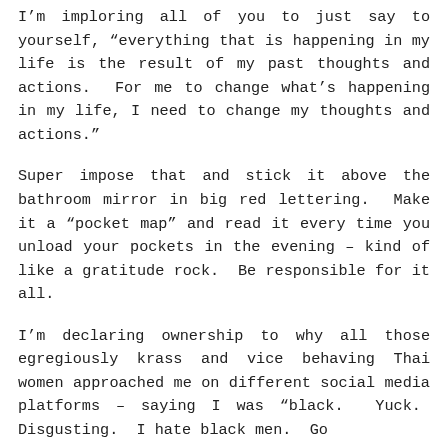I’m imploring all of you to just say to yourself, “everything that is happening in my life is the result of my past thoughts and actions.  For me to change what’s happening in my life, I need to change my thoughts and actions.”
Super impose that and stick it above the bathroom mirror in big red lettering.  Make it a “pocket map” and read it every time you unload your pockets in the evening – kind of like a gratitude rock.  Be responsible for it all.
I’m declaring ownership to why all those egregiously krass and vice behaving Thai women approached me on different social media platforms – saying I was “black.  Yuck.  Disgusting.  I hate black men.  Go